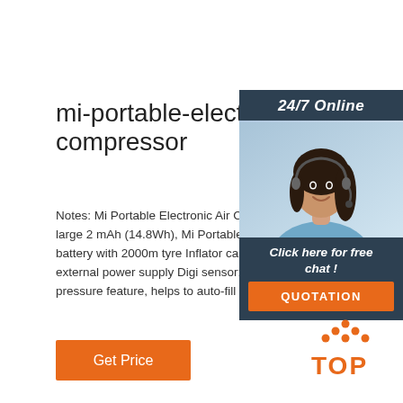mi-portable-electric-air-compressor
Notes: Mi Portable Electronic Air Compres Battery: Long-lasting thanks to the large 2 mAh (14.8Wh), Mi Portable Electronic Air Compressor features a battery with 2000m tyre Inflator can be used for a long time ar not require any external power supply Digi sensor: Digital pressure gauge sensor, wit preset pressure feature, helps to auto-fill ar your car/bike tyres to …
[Figure (photo): Customer service agent photo with 24/7 Online label, Click here for free chat, and QUOTATION button overlay]
Get Price
[Figure (logo): TOP logo with orange dots arranged in triangle above the word TOP in orange]